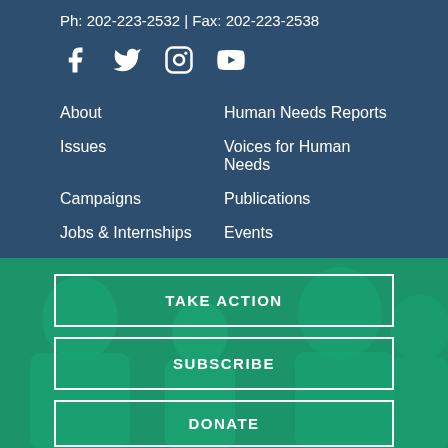Ph: 202-223-2532 | Fax: 202-223-2538
[Figure (infographic): Social media icons: Facebook, Twitter, Instagram, YouTube in white on dark blue background]
About
Human Needs Reports
Issues
Voices for Human Needs
Campaigns
Publications
Jobs & Internships
Events
[Figure (photo): Background photo of people with green overlay tint]
TAKE ACTION
SUBSCRIBE
DONATE